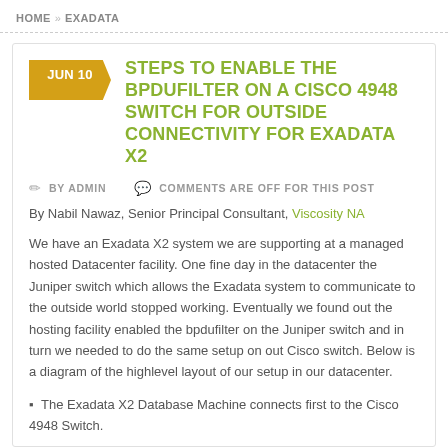HOME » EXADATA
STEPS TO ENABLE THE BPDUFILTER ON A CISCO 4948 SWITCH FOR OUTSIDE CONNECTIVITY FOR EXADATA X2
BY ADMIN   COMMENTS ARE OFF FOR THIS POST
By Nabil Nawaz, Senior Principal Consultant, Viscosity NA
We have an Exadata X2 system we are supporting at a managed hosted Datacenter facility. One fine day in the datacenter the Juniper switch which allows the Exadata system to communicate to the outside world stopped working. Eventually we found out the hosting facility enabled the bpdufilter on the Juniper switch and in turn we needed to do the same setup on out Cisco switch. Below is a diagram of the highlevel layout of our setup in our datacenter.
The Exadata X2 Database Machine connects first to the Cisco 4948 Switch.